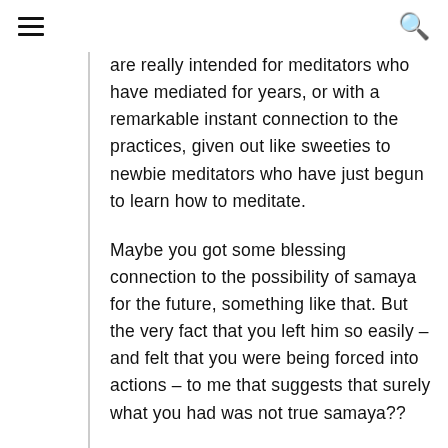≡  🔍
are really intended for meditators who have mediated for years, or with a remarkable instant connection to the practices, given out like sweeties to newbie meditators who have just begun to learn how to meditate.
Maybe you got some blessing connection to the possibility of samaya for the future, something like that. But the very fact that you left him so easily – and felt that you were being forced into actions – to me that suggests that surely what you had was not true samaya??
If so you might not have anything to purify. Best to ask your new teacher of course for